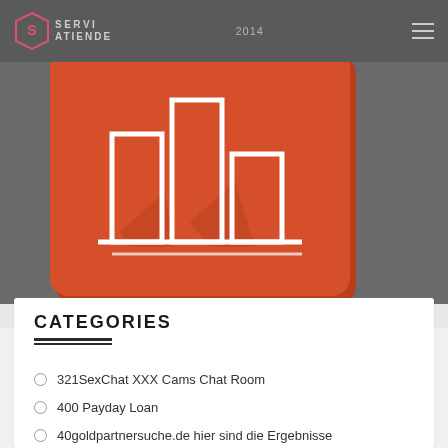SERVI ATIENDE 2014
[Figure (illustration): Orange rounded-rectangle hero image with bar-chart icon outline in white, shown on a dark gray website header background.]
CATEGORIES
321SexChat XXX Cams Chat Room
400 Payday Loan
40goldpartnersuche.de hier sind die Ergebnisse